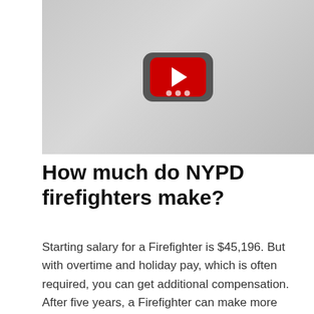[Figure (screenshot): YouTube video thumbnail placeholder showing a dark rounded rectangle with a red YouTube play button in the center, on a light gray background]
How much do NYPD firefighters make?
Starting salary for a Firefighter is $45,196. But with overtime and holiday pay, which is often required, you can get additional compensation. After five years, a Firefighter can make more than $100,000, including overtime and holiday pay.